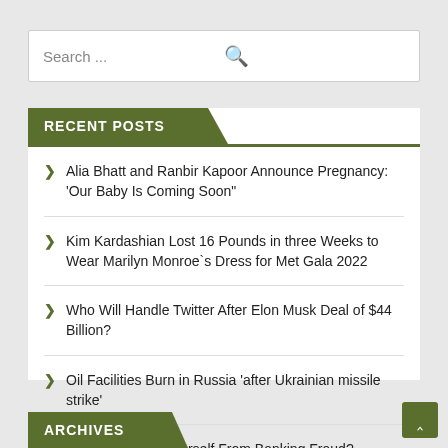Search ...
RECENT POSTS
Alia Bhatt and Ranbir Kapoor Announce Pregnancy: 'Our Baby Is Coming Soon"
Kim Kardashian Lost 16 Pounds in three Weeks to Wear Marilyn Monroe`s Dress for Met Gala 2022
Who Will Handle Twitter After Elon Musk Deal of $44 Billion?
Oil Facilities Burn in Russia 'after Ukrainian missile strike'
How To Protect Yourself From Banking Fraud?
ARCHIVES